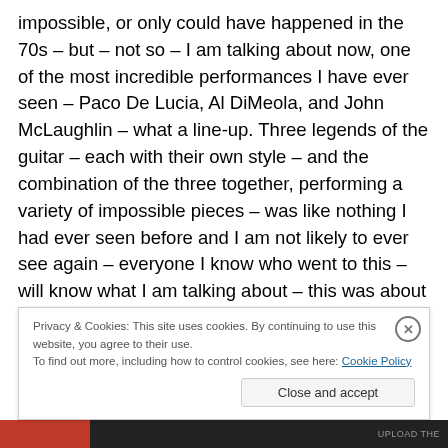impossible, or only could have happened in the 70s – but – not so – I am talking about now, one of the most incredible performances I have ever seen – Paco De Lucia, Al DiMeola, and John McLaughlin – what a line-up. Three legends of the guitar – each with their own style – and the combination of the three together, performing a variety of impossible pieces – was like nothing I had ever seen before and I am not likely to ever see again – everyone I know who went to this – will know what I am talking about – this was about skill, passion and grace – and these three gentlemen had lots of all of those things.
Privacy & Cookies: This site uses cookies. By continuing to use this website, you agree to their use.
To find out more, including how to control cookies, see here: Cookie Policy